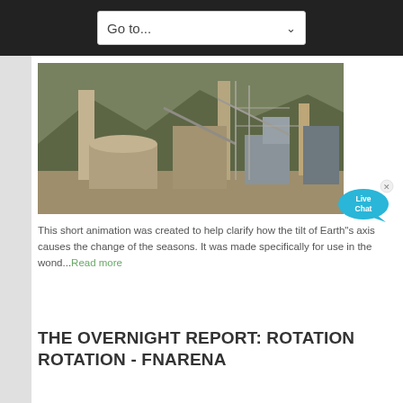Go to...
[Figure (photo): Aerial view of an industrial cement plant or mining facility with large chimneys, silos, conveyor structures, and heavy machinery against a mountainous backdrop]
[Figure (infographic): Live Chat speech bubble widget in cyan/blue color with text 'Live Chat' and a close X button]
This short animation was created to help clarify how the tilt of Earth"s axis causes the change of the seasons. It was made specifically for use in the wond...Read more
THE OVERNIGHT REPORT: ROTATION ROTATION - FNARENA
[Figure (photo): Partial view of an industrial facility structure, cement or mining plant]